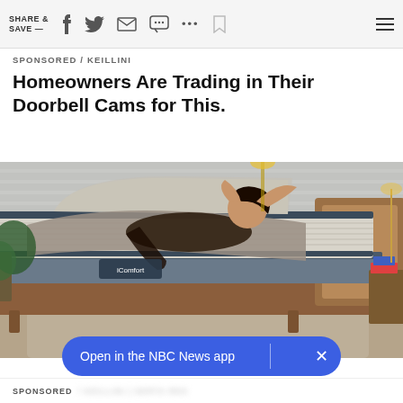SHARE & SAVE —
SPONSORED / KEILLINI
Homeowners Are Trading in Their Doorbell Cams for This.
[Figure (photo): Woman lying on an adjustable iComfort mattress on a wooden bed frame in a modern bedroom setting. The mattress head is raised. A plant and bedside lamp are visible in the background.]
Open in the NBC News app
SPONSORED